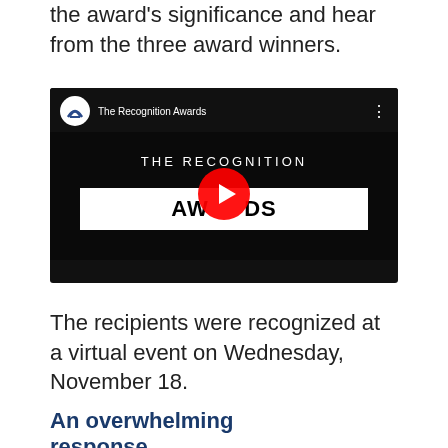the award's significance and hear from the three award winners.
[Figure (screenshot): YouTube video thumbnail for 'The Recognition Awards' showing dark background with white text 'THE RECOGNITION AWARDS' and a red YouTube play button in the center.]
The recipients were recognized at a virtual event on Wednesday, November 18.
An overwhelming response